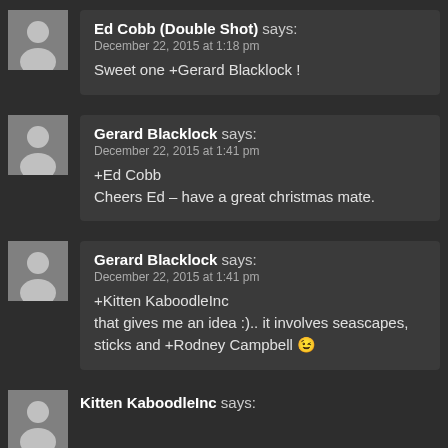Ed Cobb (Double Shot) says: December 22, 2015 at 1:18 pm
Sweet one +Gerard Blacklock !
Gerard Blacklock says: December 22, 2015 at 1:41 pm
+Ed Cobb
Cheers Ed – have a great christmas mate.
Gerard Blacklock says: December 22, 2015 at 1:41 pm
+Kitten KaboodleInc
that gives me an idea :).. it involves seascapes, sticks and +Rodney Campbell 😉
Kitten KaboodleInc says: